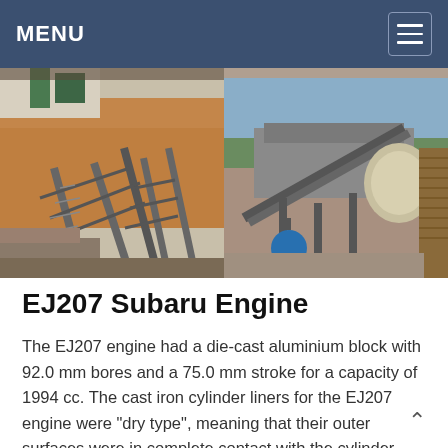MENU
[Figure (photo): Two industrial/mining equipment photographs side by side: left shows a conveyor belt structure at a quarry site with rocky terrain; right shows a mobile crushing/screening plant with conveyor belts parked near stacked timber.]
EJ207 Subaru Engine
The EJ207 engine had a die-cast aluminium block with 92.0 mm bores and a 75.0 mm stroke for a capacity of 1994 cc. The cast iron cylinder liners for the EJ207 engine were "dry type", meaning that their outer surfaces were in complete contact with the cylinder walls.